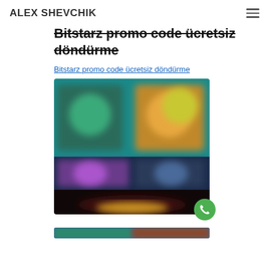ALEX SHEVCHIK
Bitstarz promo code ücretsiz döndürme
Bitstarz promo code ücretsiz döndürme
[Figure (photo): Blurred screenshot of a casino gaming website showing various game thumbnails with colorful characters and game titles]
[Figure (photo): Partial blurred screenshot strip at bottom of page]